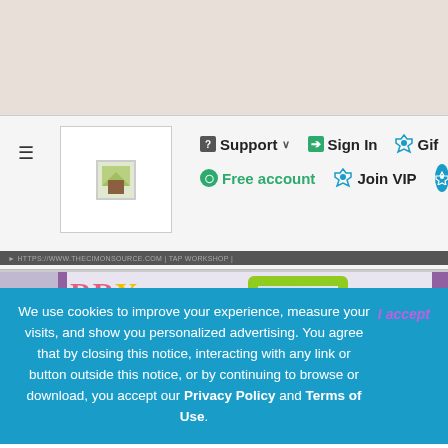[Figure (screenshot): Website header navigation bar with Support, Sign In, Gift, Free account, Join VIP links and logo]
[Figure (photo): Christmas/holiday decoration photo showing colorful nutcrackers, letters spelling MERRY, a green ornate mirror frame, and a HOHO sign on purple shelves]
We use cookies to improve your experience, measure your visits, and show you personalized advertising. You agree that by closing this notice, interacting with any link or button outside this notice, or by continuing to browse or download, you accept our Privacy Policy and Terms of Use.
I accept